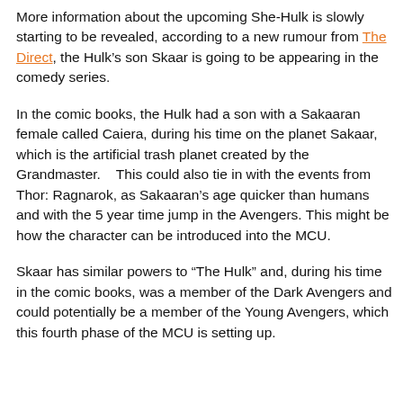More information about the upcoming She-Hulk is slowly starting to be revealed, according to a new rumour from The Direct, the Hulk's son Skaar is going to be appearing in the comedy series.
In the comic books, the Hulk had a son with a Sakaaran female called Caiera, during his time on the planet Sakaar, which is the artificial trash planet created by the Grandmaster.    This could also tie in with the events from Thor: Ragnarok, as Sakaaran's age quicker than humans and with the 5 year time jump in the Avengers. This might be how the character can be introduced into the MCU.
Skaar has similar powers to “The Hulk” and, during his time in the comic books, was a member of the Dark Avengers and could potentially be a member of the Young Avengers, which this fourth phase of the MCU is setting up.